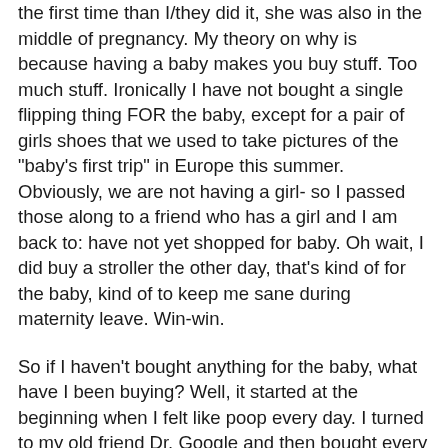the first time than I/they did it, she was also in the middle of pregnancy. My theory on why is because having a baby makes you buy stuff. Too much stuff. Ironically I have not bought a single flipping thing FOR the baby, except for a pair of girls shoes that we used to take pictures of the "baby's first trip" in Europe this summer. Obviously, we are not having a girl- so I passed those along to a friend who has a girl and I am back to: have not yet shopped for baby. Oh wait, I did buy a stroller the other day, that's kind of for the baby, kind of to keep me sane during maternity leave. Win-win.
So if I haven't bought anything for the baby, what have I been buying? Well, it started at the beginning when I felt like poop every day. I turned to my old friend Dr. Google and then bought every POSSIBLE "morning sickness fix." I'm talking 15 different kinds of tea, ginger gum, motion sickness bracelets, lemon drops, B6 vitamins… I can't even remember what else because the vast majority of it didn't really work.
Then I started to feel better but the tummy started growing and so the maternity clothes shopping began. I resisted it for awhile, then discovered that the clothes are actually much